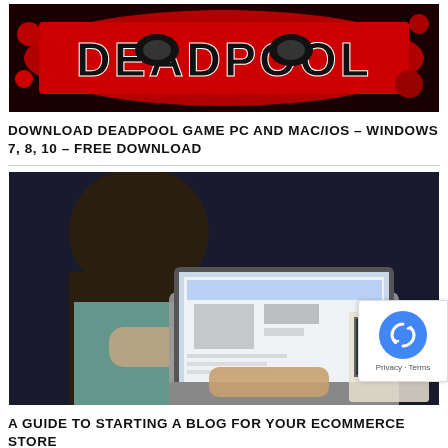[Figure (photo): Deadpool movie/game logo on red and black splatter background]
DOWNLOAD DEADPOOL GAME PC AND MAC/IOS – WINDOWS 7, 8, 10 – FREE DOWNLOAD
[Figure (photo): Person typing on a laptop with a magazine and tablet visible on a dark surface]
A GUIDE TO STARTING A BLOG FOR YOUR ECOMMERCE STORE
[Figure (photo): Partial view of a smartphone on a light surface]